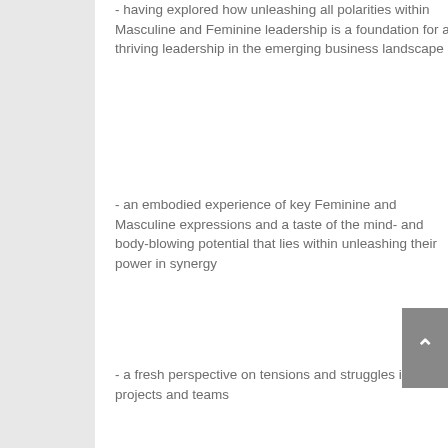- having explored how unleashing all polarities within Masculine and Feminine leadership is a foundation for a thriving leadership in the emerging business landscape
- an embodied experience of key Feminine and Masculine expressions and a taste of the mind- and body-blowing potential that lies within unleashing their power in synergy
- a fresh perspective on tensions and struggles in your projects and teams